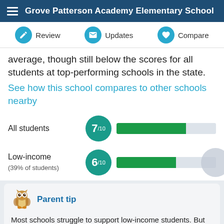Grove Patterson Academy Elementary School
average, though still below the scores for all students at top-performing schools in the state.
See how this school compares to other schools nearby
All students 7/10
Low-income (39% of students) 6/10
Parent tip
Most schools struggle to support low-income students. But some schools are succeeding. This toolkit will help you close the equity gap at your school:.... More